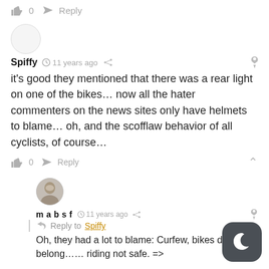👍 0  → Reply
[Figure (photo): Empty gray circle avatar placeholder]
Spiffy  🕐 11 years ago  🔗
it's good they mentioned that there was a rear light on one of the bikes… now all the hater commenters on the news sites only have helmets to blame… oh, and the scofflaw behavior of all cyclists, of course…
👍 0  → Reply  ∧
[Figure (photo): Profile photo of mabsf user]
mabsf  🕐 11 years ago  🔗
| 💬 Reply to Spiffy
Oh, they had a lot to blame: Curfew, bikes don't belong…… riding not safe. =>